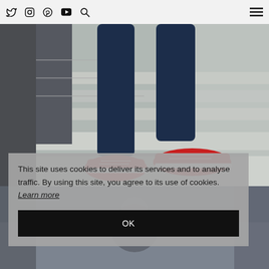Twitter | Instagram | Pinterest | YouTube | Search | Menu
[Figure (photo): Close-up of a person's legs wearing dark blue skinny jeans and red sneakers, walking on stone steps outdoors]
[Figure (photo): Partial view of a second photo below the main image]
This site uses cookies to deliver its services and to analyse traffic. By using this site, you agree to its use of cookies. Learn more
OK